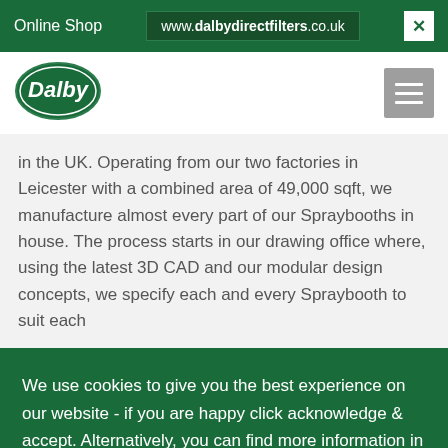Online Shop | www.dalbydirectfilters.co.uk
[Figure (logo): Dalby logo - green oval with white Dalby text]
in the UK. Operating from our two factories in Leicester with a combined area of 49,000 sqft, we manufacture almost every part of our Spraybooths in house. The process starts in our drawing office where, using the latest 3D CAD and our modular design concepts, we specify each and every Spraybooth to suit each
We use cookies to give you the best experience on our website - if you are happy click acknowledge & accept. Alternatively, you can find more information in our privacy policy.
Acknowledge & Accept